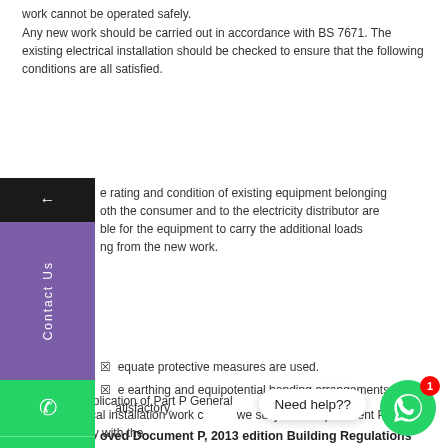work cannot be operated safely.
Any new work should be carried out in accordance with BS 7671. The existing electrical installation should be checked to ensure that the following conditions are all satisfied.
The rating and condition of existing equipment belonging to both the consumer and to the electricity distributor are suitable for the equipment to carry the additional loads arising from the new work.
Adequate protective measures are used.
The earthing and equipotential bonding arrangements are satisfactory.
Approved Document P, 2013 edition Building Regulations P1
Section 2: Application of Part P General
2.1 All electrical installation work carried out in dwellings is subject to requirement P1, and should comply with the